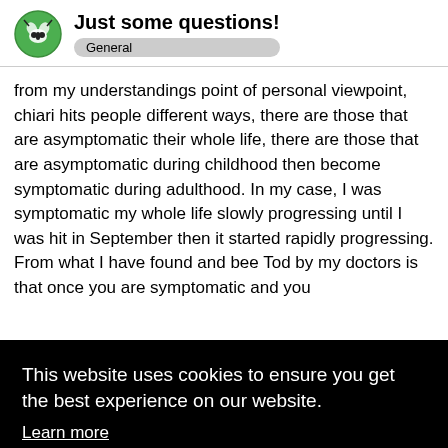Just some questions! General
from my understandings point of personal viewpoint, chiari hits people different ways, there are those that are asymptomatic their whole life, there are those that are asymptomatic during childhood then become symptomatic during adulthood. In my case, I was symptomatic my whole life slowly progressing until I was hit in September then it started rapidly progressing. From what I have found and bee Tod by my doctors is that once you are symptomatic and you
e
st that
n
next
emely
This website uses cookies to ensure you get the best experience on our website. Learn more Got it!
lying in my right side gave comfort o